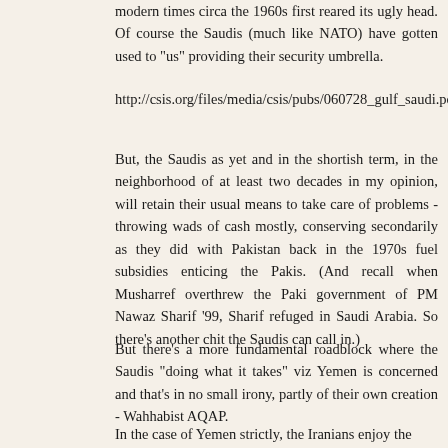modern times circa the 1960s first reared its ugly head. Of course the Saudis (much like NATO) have gotten used to "us" providing their security umbrella.
http://csis.org/files/media/csis/pubs/060728_gulf_saudi.pdf
But, the Saudis as yet and in the shortish term, in the neighborhood of at least two decades in my opinion, will retain their usual means to take care of problems - throwing wads of cash mostly, conserving secondarily as they did with Pakistan back in the 1970s fuel subsidies enticing the Pakis. (And recall when Musharref overthrew the Paki government of PM Nawaz Sharif '99, Sharif refuged in Saudi Arabia. So there's another chit the Saudis can call in.)
But there's a more fundamental roadblock where the Saudis "doing what it takes" viz Yemen is concerned and that's in no small irony, partly of their own creation - Wahhabist AQAP.
In the case of Yemen strictly, the Iranians enjoy the